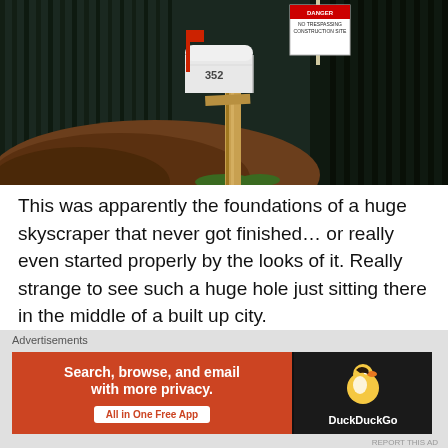[Figure (photo): A white mailbox labeled '352' on a wooden post, positioned in front of dark metal fence bars. A red danger construction sign is visible in the upper right. A pile of dirt/mulch is visible at the base.]
This was apparently the foundations of a huge skyscraper that never got finished… or really even started properly by the looks of it. Really strange to see such a huge hole just sitting there in the middle of a built up city.
Advertisements
[Figure (screenshot): DuckDuckGo advertisement banner: 'Search, browse, and email with more privacy. All in One Free App' with DuckDuckGo logo on dark background.]